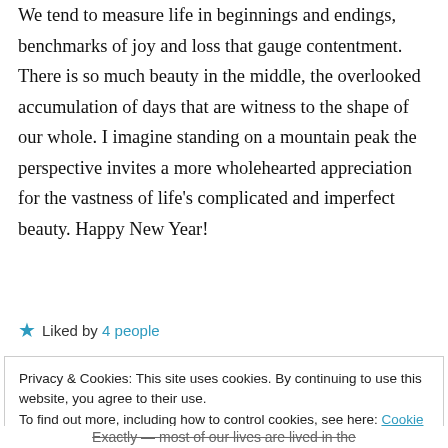We tend to measure life in beginnings and endings, benchmarks of joy and loss that gauge contentment. There is so much beauty in the middle, the overlooked accumulation of days that are witness to the shape of our whole. I imagine standing on a mountain peak the perspective invites a more wholehearted appreciation for the vastness of life's complicated and imperfect beauty. Happy New Year!
★ Liked by 4 people
Privacy & Cookies: This site uses cookies. By continuing to use this website, you agree to their use. To find out more, including how to control cookies, see here: Cookie Policy
Close and accept
Exactly — most of our lives are lived in the